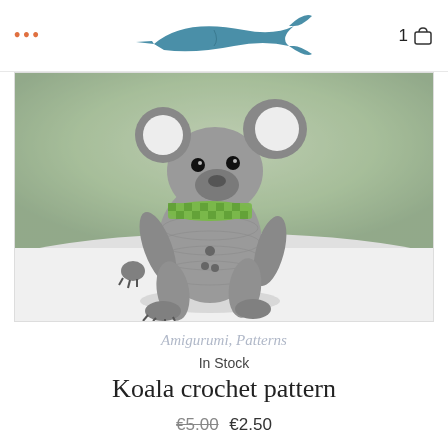... [logo] 1 [cart icon]
[Figure (photo): A crocheted amigurumi koala stuffed animal sitting upright, grey yarn body with a green checkered scarf/bow, black button eyes, fluffy white ears, photographed on a white surface with green blurred background]
Amigurumi, Patterns
In Stock
Koala crochet pattern
€5.00 €2.50